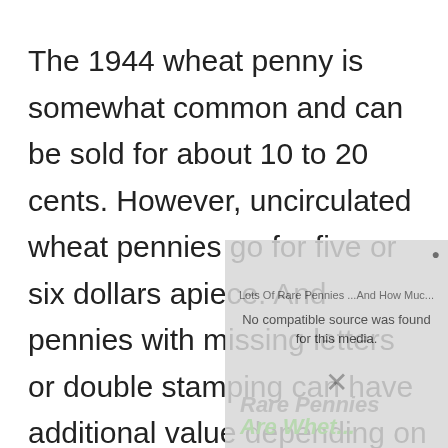The 1944 wheat penny is somewhat common and can be sold for about 10 to 20 cents. However, uncirculated wheat pennies go for five or six dollars apiece. And pennies with missing letters or double stamping can have additional value depending on the market.
[Figure (screenshot): Video player overlay showing 'Lots Of Rare Pennies ...And How Muc...' with message 'No compatible source was found for this media.' and a close X button, with faint watermark text 'Rare Pennies' and 'Are Whet...' visible behind.]